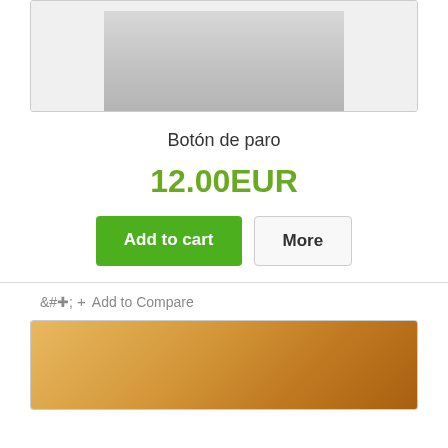[Figure (photo): Product photo of a metal stop button/hook hardware, gray background]
Botón de paro
12.00EUR
Add to cart
More
+ Add to Compare
[Figure (photo): Product photo showing a wood surface, partial view]